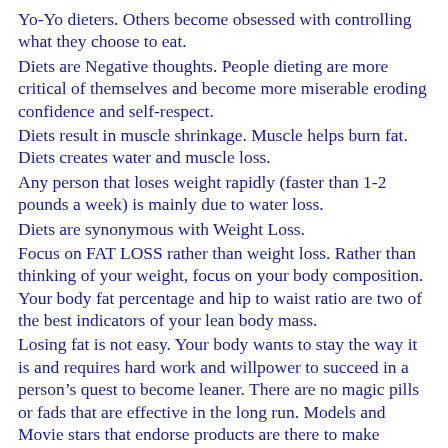Yo-Yo dieters. Others become obsessed with controlling what they choose to eat.
Diets are Negative thoughts. People dieting are more critical of themselves and become more miserable eroding confidence and self-respect.
Diets result in muscle shrinkage. Muscle helps burn fat. Diets creates water and muscle loss.
Any person that loses weight rapidly (faster than 1-2 pounds a week) is mainly due to water loss.
Diets are synonymous with Weight Loss.
Focus on FAT LOSS rather than weight loss. Rather than thinking of your weight, focus on your body composition. Your body fat percentage and hip to waist ratio are two of the best indicators of your lean body mass.
Losing fat is not easy. Your body wants to stay the way it is and requires hard work and willpower to succeed in a person’s quest to become leaner. There are no magic pills or fads that are effective in the long run. Models and Movie stars that endorse products are there to make money. Don’t waste your hard-earned money.
It is important to realize that weight is meaningless as an index of fitness or health. It is best to focus on FAT LOSS rather than